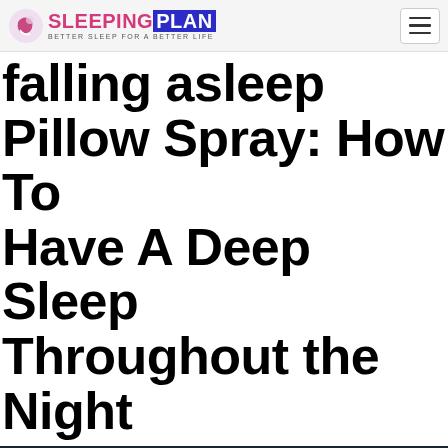SLEEPING PLAN — BETTER SLEEP FOR A BETTER LIFE
falling asleep Pillow Spray: How To Have A Deep Sleep Throughout the Night
[Figure (photo): A person with red hair sleeping in bed, covered with white sheets, in a dimly lit room with a dark headboard visible in the background.]